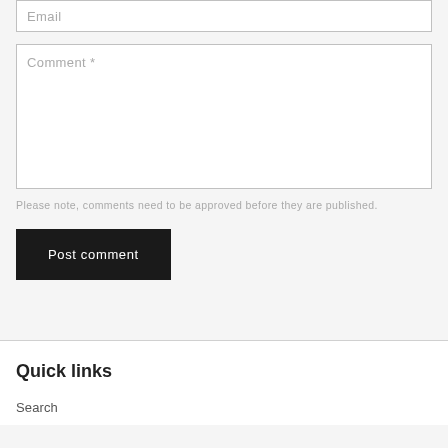Email
Comment *
Please note, comments need to be approved before they are published.
Post comment
Quick links
Search